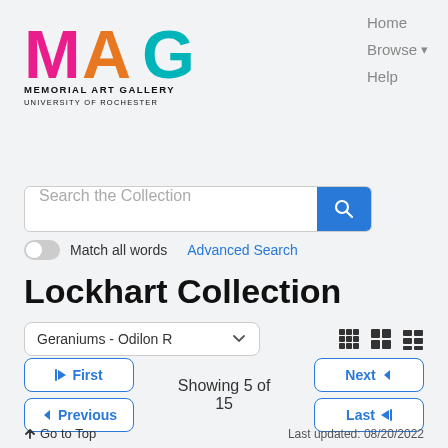[Figure (logo): Memorial Art Gallery (MAG) logo with colorful M, A, G letters and text 'MEMORIAL ART GALLERY UNIVERSITY OF ROCHESTER']
Home  Browse ▾  Help
Search the Collection [search button] Match all words  Advanced Search
Lockhart Collection
Geraniums - Odilon R [dropdown]  [grid view icons]
⏮ First  Showing 5 of 15  Next ▶  ◀ Previous  Last ⏭
⬆ Go to Top  Last updated: 08/20/2022